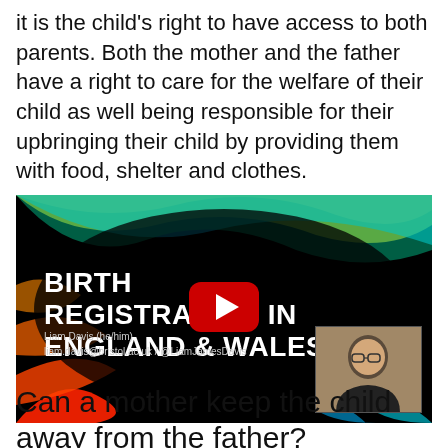it is the child's right to have access to both parents. Both the mother and the father have a right to care for the welfare of their child as well being responsible for their upbringing their child by providing them with food, shelter and clothes.
[Figure (screenshot): YouTube video thumbnail titled 'BIRTH REGISTRATION IN ENGLAND AND WALES' by Liam Davis (he/him), liam.davis@bristol.ac.uk / @LiamJamesDavis, with a red play button overlay and a webcam image of a man in bottom-right corner.]
Can a mother keep the child away from the father?